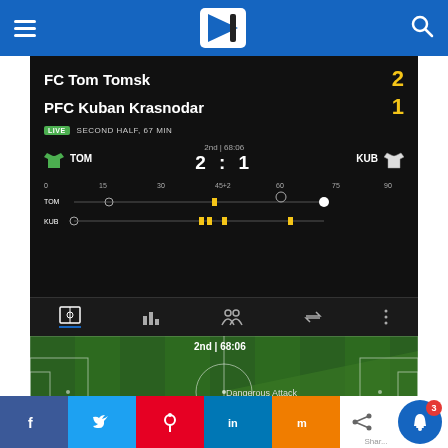Goaloo sports app header with hamburger menu, logo, and search icon
[Figure (screenshot): Live football match score panel: FC Tom Tomsk 2 vs PFC Kuban Krasnodar 1, Second Half 67 min, 2nd | 68:06, with timeline and tab navigation]
[Figure (screenshot): Football pitch visualization showing 2nd | 68:06, Dangerous Attack KUBAN KRASNODAR with white jersey icon]
Social share buttons: Facebook, Twitter, Pinterest, LinkedIn, Mix, Share; notification bell with badge 3